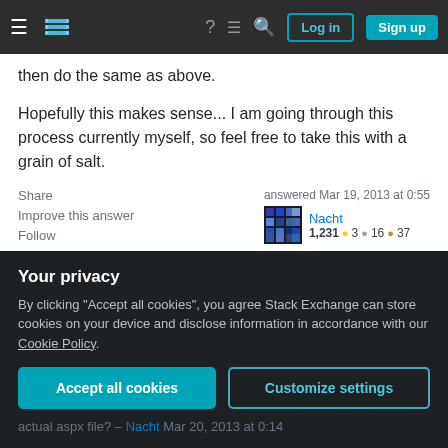Stack Exchange navigation bar with Log in and Sign up buttons
then do the same as above.
Hopefully this makes sense... I am going through this process currently myself, so feel free to take this with a grain of salt.
Share  Improve this answer  Follow  answered Mar 19, 2013 at 0:55  Nacht  1,231  3  16  37
I'm still hoping there is a better approach. The way SharePoint does it with the .WSP it creates I believe I
Your privacy
By clicking "Accept all cookies", you agree Stack Exchange can store cookies on your device and disclose information in accordance with our Cookie Policy.
Accept all cookies  Customize settings
actual aspx file? – Nacht Mar 20, 2013 at 0:14